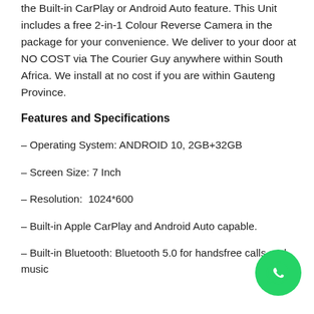the Built-in CarPlay or Android Auto feature. This Unit includes a free 2-in-1 Colour Reverse Camera in the package for your convenience. We deliver to your door at NO COST via The Courier Guy anywhere within South Africa. We install at no cost if you are within Gauteng Province.
Features and Specifications
– Operating System: ANDROID 10, 2GB+32GB
– Screen Size: 7 Inch
– Resolution:  1024*600
– Built-in Apple CarPlay and Android Auto capable.
– Built-in Bluetooth: Bluetooth 5.0 for handsfree calls and music